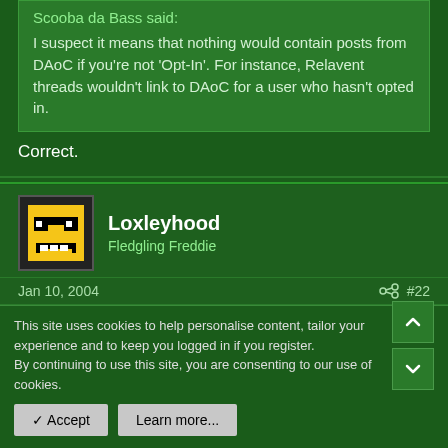Scooba da Bass said:
I suspect it means that nothing would contain posts from DAoC if you're not 'Opt-In'. For instance, Relavent threads wouldn't link to DAoC for a user who hasn't opted in.
Correct.
Loxleyhood
Fledgling Freddie
Jan 10, 2004
#22
Seems a long way to go to back up a stereotypical dislike.
This site uses cookies to help personalise content, tailor your experience and to keep you logged in if you register.
By continuing to use this site, you are consenting to our use of cookies.